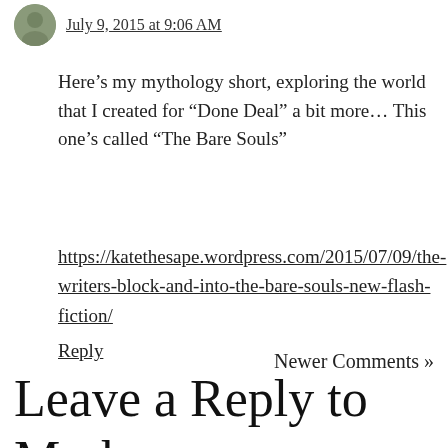July 9, 2015 at 9:06 AM
Here’s my mythology short, exploring the world that I created for “Done Deal” a bit more… This one’s called “The Bare Souls”
https://katethesape.wordpress.com/2015/07/09/the-writers-block-and-into-the-bare-souls-new-flash-fiction/
Reply
Newer Comments »
Leave a Reply to Mark Gardner Cancel reply